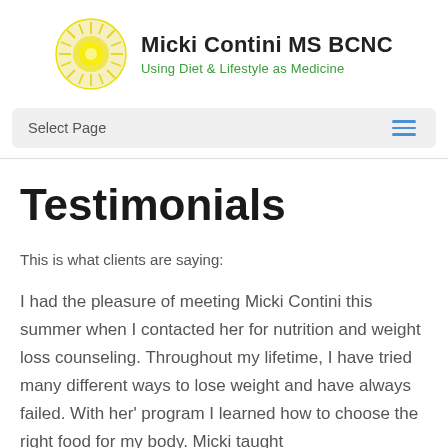[Figure (logo): Micki Contini MS BCNC logo with yellow sunburst circle icon and text 'Micki Contini MS BCNC' in bold black with subtitle 'Using Diet & Lifestyle as Medicine' in green]
Select Page
Testimonials
This is what clients are saying:
I had the pleasure of meeting Micki Contini this summer when I contacted her for nutrition and weight loss counseling. Throughout my lifetime, I have tried many different ways to lose weight and have always failed. With her' program I learned how to choose the right food for my body. Micki taught